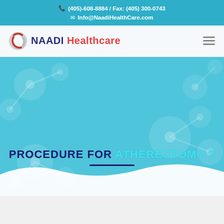(405)-608-8884 / Fax: (405) 300-0743
Info@NaadiHealthCare.com
[Figure (logo): NAADI Healthcare logo with circular ring icon in red and grey, followed by text NAADI in dark blue and Healthcare in red]
PROCEDURE FOR ATHERECTOMY ?
[Figure (illustration): Hero banner with light blue background featuring translucent molecular/bubble network graphic. Title text reads PROCEDURE FOR ATHERECTOMY? with a dark underline. Bottom of section has a white wave shape.]